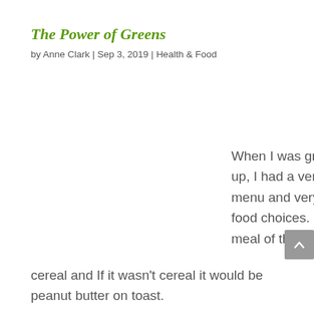The Power of Greens
by Anne Clark | Sep 3, 2019 | Health & Food
When I was growing up, I had a very simple menu and very simple food choices.  My first meal of the day was cereal and If it wasn't cereal it would be peanut butter on toast.